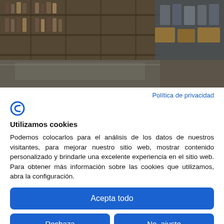[Figure (photo): Background photo of a wine shop / delicatessen interior showing shelves stocked with bottles, boxes, and a glass display counter.]
Política de privacidad
[Figure (logo): Stylized blue letter C or F logo mark]
Utilizamos cookies
Podemos colocarlos para el análisis de los datos de nuestros visitantes, para mejorar nuestro sitio web, mostrar contenido personalizado y brindarle una excelente experiencia en el sitio web. Para obtener más información sobre las cookies que utilizamos, abra la configuración.
Acepta todo
Rechaza
No, ajuste